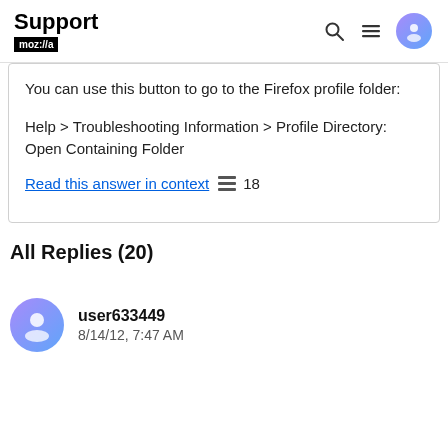Support mozilla//a
You can use this button to go to the Firefox profile folder:
Help > Troubleshooting Information > Profile Directory: Open Containing Folder
Read this answer in context  18
All Replies (20)
user633449
8/14/12, 7:47 AM